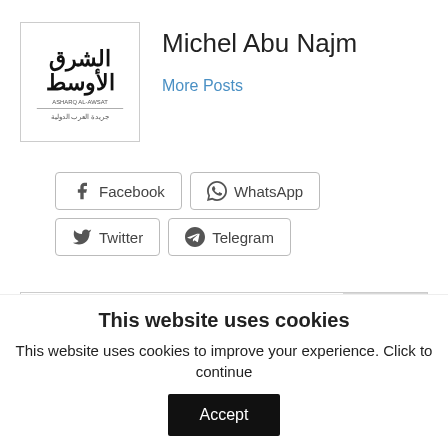[Figure (logo): Asharq Al-Awsat newspaper logo with Arabic text]
Michel Abu Najm
More Posts
Facebook
WhatsApp
Twitter
Telegram
Search
This website uses cookies
This website uses cookies to improve your experience. Click to continue
Accept